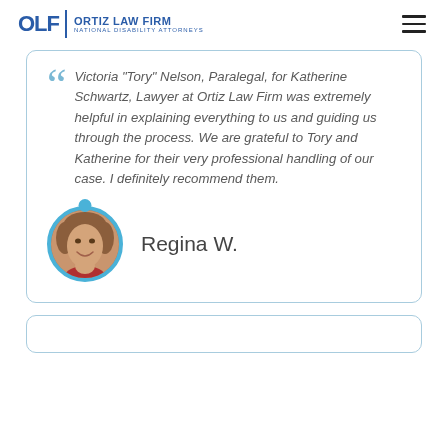OLF | ORTIZ LAW FIRM NATIONAL DISABILITY ATTORNEYS
Victoria "Tory" Nelson, Paralegal, for Katherine Schwartz, Lawyer at Ortiz Law Firm was extremely helpful in explaining everything to us and guiding us through the process. We are grateful to Tory and Katherine for their very professional handling of our case. I definitely recommend them.
Regina W.